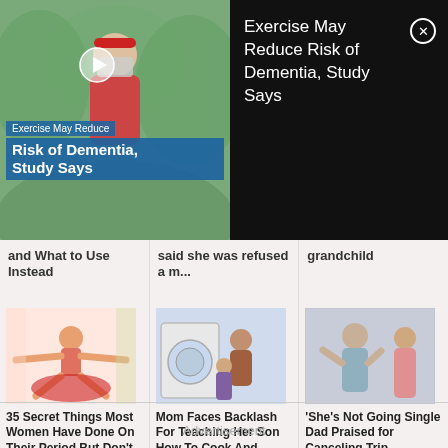[Figure (screenshot): Video thumbnail showing person in red headband and mask outdoors, with overlay text 'Exercise May Reduce Risk of Dementia, Study Says' and play button]
Exercise May Reduce Risk of Dementia, Study Says
and What to Use Instead
said she was refused a m...
grandchild
[Figure (illustration): Cartoon illustration of a woman lying spread-eagle on a red surface]
35 Secret Things Most Women Have Done On Their Period But Don't Talk A...
[Figure (photo): Mother and child at washing machine, teaching son to cook and clean]
Mom Faces Backlash For Teaching Her Son How To Cook And Clean And Her ...
[Figure (photo): Single dad and daughter looking distressed]
'She's Not Going Single Dad Praised for Canceling Trip Daughter's Da...
Advertisement